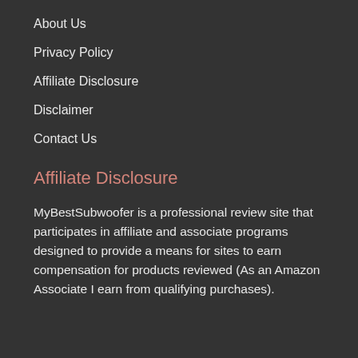About Us
Privacy Policy
Affiliate Disclosure
Disclaimer
Contact Us
Affiliate Disclosure
MyBestSubwoofer is a professional review site that participates in affiliate and associate programs designed to provide a means for sites to earn compensation for products reviewed (As an Amazon Associate I earn from qualifying purchases).